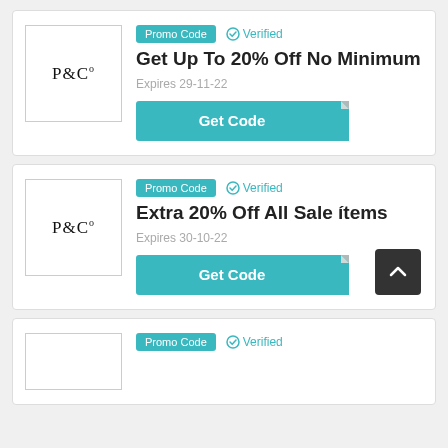[Figure (logo): P&Co brand logo with serif font inside a bordered box]
Promo Code  ✓ Verified
Get Up To 20% Off No Minimum
Expires 29-11-22
Get Code
[Figure (logo): P&Co brand logo with serif font inside a bordered box]
Promo Code  ✓ Verified
Extra 20% Off All Sale ítems
Expires 30-10-22
Get Code
Promo Code  ✓ Verified